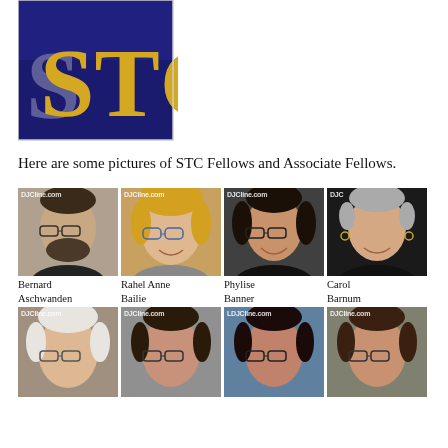[Figure (logo): STC logo — dark navy/blue square background with large yellow-gold 'STC' letters and a gray 'S' shadow effect]
Here are some pictures of STC Fellows and Associate Fellows.
[Figure (photo): Grid of headshot photographs of STC Fellows and Associate Fellows. Top row: Bernard Aschwanden, Rahel Anne Bailie, Phylise Banner, Carol Barnum. Bottom row: four more individuals partially visible. Each photo watermarked with DJCline.com.]